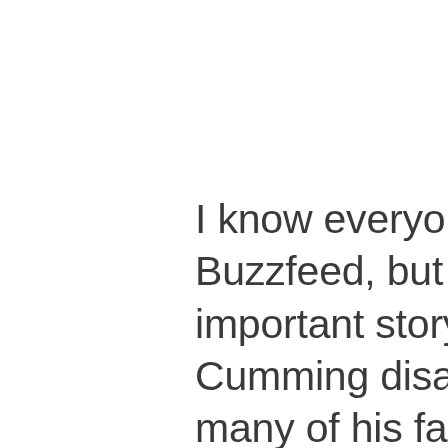I know everyone here hates Buzzfeed, but this is an important story. Alan Cumming disappointed many of his fans yesterday by tweeting a photo of himself and creeper Terry Richardson at a Harper's Bazaar shoot. Alan felt the outrage and quickly apologized. Then he deleted the apology. Not